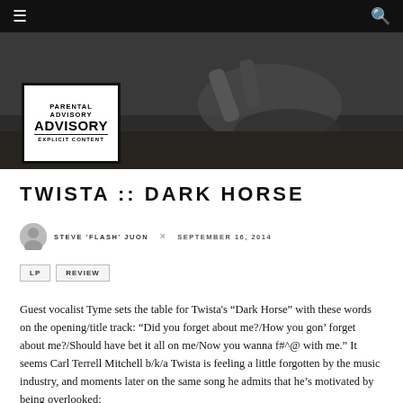≡  🔍
[Figure (photo): Dark moody photo of a person on the ground with Parental Advisory Explicit Content label overlay in the lower left]
TWISTA :: DARK HORSE
STEVE 'FLASH' JUON  ✕  SEPTEMBER 16, 2014
LP
REVIEW
Guest vocalist Tyme sets the table for Twista's "Dark Horse" with these words on the opening/title track: "Did you forget about me?/How you gon' forget about me?/Should have bet it all on me/Now you wanna f#^@ with me." It seems Carl Terrell Mitchell b/k/a Twista is feeling a little forgotten by the music industry, and moments later on the same song he admits that he's motivated by being overlooked: